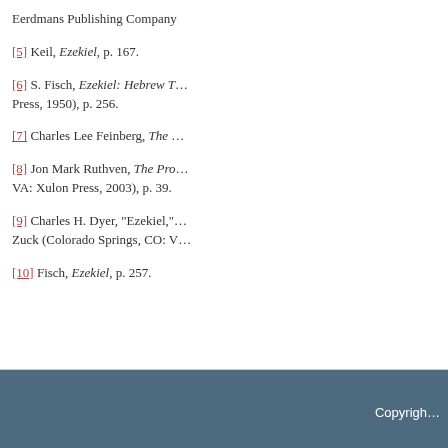Eerdmans Publishing Company
[5] Keil, Ezekiel, p. 167.
[6] S. Fisch, Ezekiel: Hebrew Text & English Translation (London: Soncino Press, 1950), p. 256.
[7] Charles Lee Feinberg, The ...
[8] Jon Mark Ruthven, The Pro... VA: Xulon Press, 2003), p. 39.
[9] Charles H. Dyer, "Ezekiel," ... Zuck (Colorado Springs, CO: V...
[10] Fisch, Ezekiel, p. 257.
Copyright